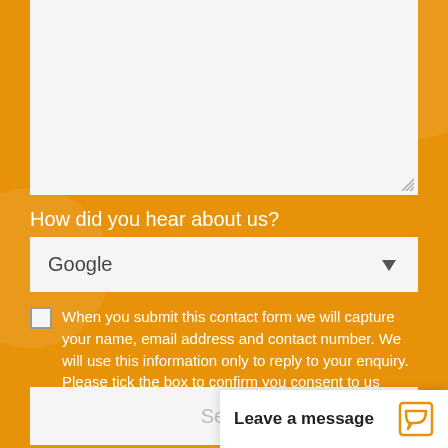[Figure (screenshot): Large empty textarea input field with light gray background and resize handle at bottom-right corner]
How did you hear about us?
[Figure (screenshot): Dropdown select box showing 'Google' as selected option with a down arrow on the right]
When you submit this contact form we will capture your name, email address and contact number. We will use this information only to reply to your enquiry. Please tick the box to confirm you consent to us using your data in this way.
[Figure (screenshot): Send button rendered as a light gray box with the text 'Send' partially visible]
Leave a message